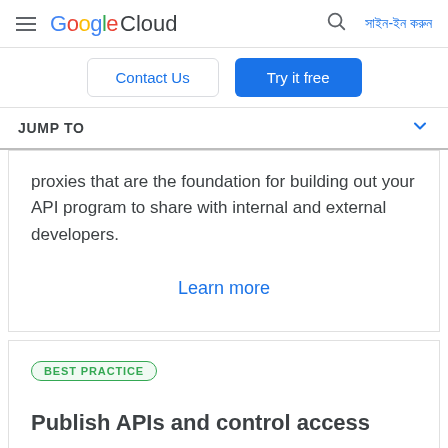Google Cloud — সাইন-ইন করুন
Contact Us | Try it free
JUMP TO
proxies that are the foundation for building out your API program to share with internal and external developers.
Learn more
BEST PRACTICE
Publish APIs and control access